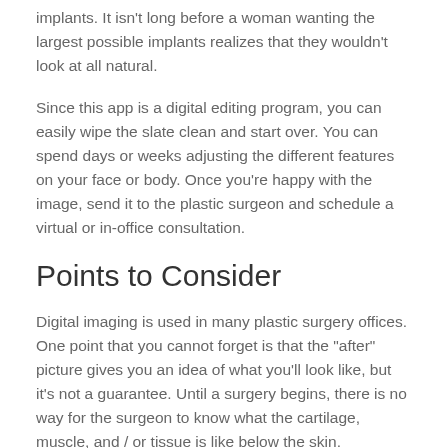implants. It isn’t long before a woman wanting the largest possible implants realizes that they wouldn’t look at all natural.
Since this app is a digital editing program, you can easily wipe the slate clean and start over. You can spend days or weeks adjusting the different features on your face or body. Once you’re happy with the image, send it to the plastic surgeon and schedule a virtual or in-office consultation.
Points to Consider
Digital imaging is used in many plastic surgery offices. One point that you cannot forget is that the “after” picture gives you an idea of what you’ll look like, but it’s not a guarantee. Until a surgery begins, there is no way for the surgeon to know what the cartilage, muscle, and / or tissue is like below the skin.